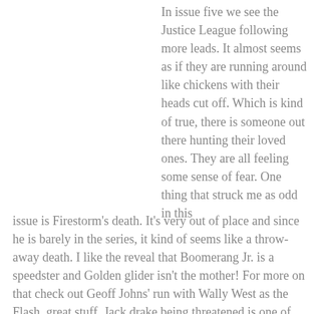In issue five we see the Justice League following more leads. It almost seems as if they are running around like chickens with their heads cut off. Which is kind of true, there is someone out there hunting their loved ones. They are all feeling some sense of fear. One thing that struck me as odd in this issue is Firestorm's death. It's very out of place and since he is barely in the series, it kind of seems like a throw-away death. I like the reveal that Boomerang Jr. is a speedster and Golden glider isn't the mother! For more on that check out Geoff Johns' run with Wally West as the Flash, great stuff. Jack drake being threatened is one of my least favorite parts of the series because I know what follows. It is very difficult rereading the Jack Drake and Digger Harkness scene because both men are fathers who care about deeply their